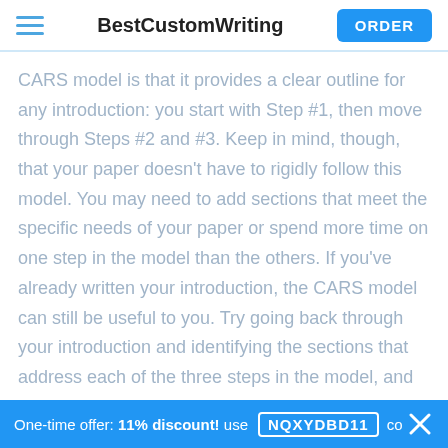BestCustomWriting | ORDER
CARS model is that it provides a clear outline for any introduction: you start with Step #1, then move through Steps #2 and #3. Keep in mind, though, that your paper doesn't have to rigidly follow this model. You may need to add sections that meet the specific needs of your paper or spend more time on one step in the model than the others. If you've already written your introduction, the CARS model can still be useful to you. Try going back through your introduction and identifying the sections that address each of the three steps in the model, and ask yourself whether you've accomplished each goal. If not, what changes do you need to make so that you can effectively walk the reader through each of the [steps?]
One-time offer: 11% discount! use NQXYDBD11 code